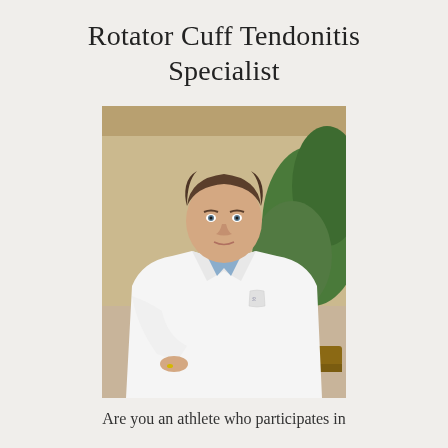Rotator Cuff Tendonitis Specialist
[Figure (photo): A male physician in a white lab coat with a blue shirt, standing in a medical office/atrium setting with plants in the background. He has brown hair and is looking slightly upward.]
Are you an athlete who participates in